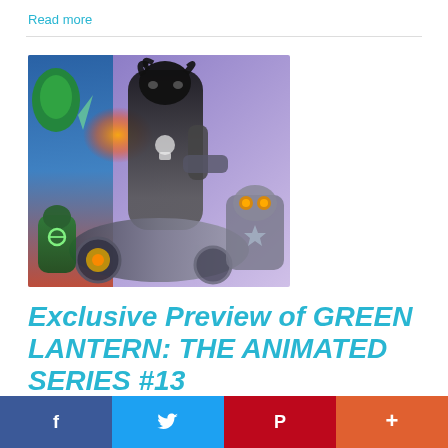Read more
[Figure (illustration): Comic book cover art showing Lobo character on a space motorcycle with Green Lantern characters, colorful comic-style illustration]
Exclusive Preview of GREEN LANTERN: THE ANIMATED SERIES #13
f  [twitter bird]  P  +